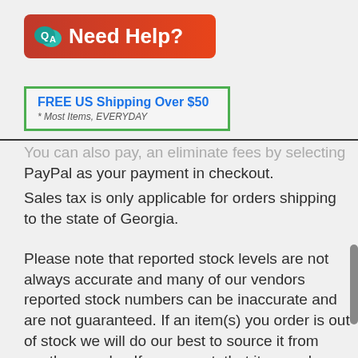[Figure (logo): Red/orange 'Need Help?' banner with Q and A speech bubbles icon on the left and white bold text 'Need Help?' on the right]
[Figure (infographic): Green-bordered box with blue bold text 'FREE US Shipping Over $50' and italic subtext '* Most Items, EVERYDAY']
You can also pay, an eliminate fees by selecting PayPal as your payment in checkout.
Sales tax is only applicable for orders shipping to the state of Georgia.
Please note that reported stock levels are not always accurate and many of our vendors reported stock numbers can be inaccurate and are not guaranteed. If an item(s) you order is out of stock we will do our best to source it from another vendor. If we cannot, that item and additional shipping (if incurred)